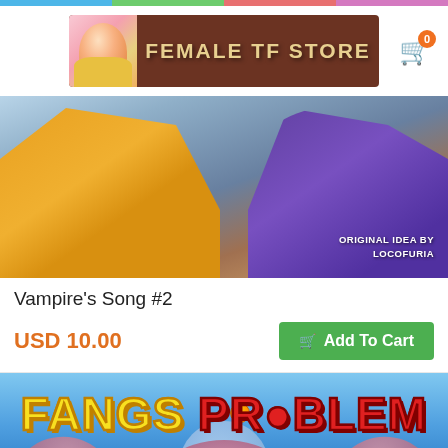[Figure (screenshot): Website header with colorful top bar and 'Female TF Store' banner logo with anime character, and shopping cart icon showing 0 items]
[Figure (illustration): Anime-style illustration showing two characters, one in yellow/orange outfit and one in purple outfit, with text 'ORIGINAL IDEA BY LOCOFURIA' in bottom right]
Vampire's Song #2
USD 10.00
Add To Cart
[Figure (illustration): Comic book cover for 'Fangs Problem' showing yellow and red stylized title text, a vampire monster character with clawed hands, bat wings, moon background, dragon ball, age 18+ badge, and credit 'Art by Atrayu Studio & Homero Go']